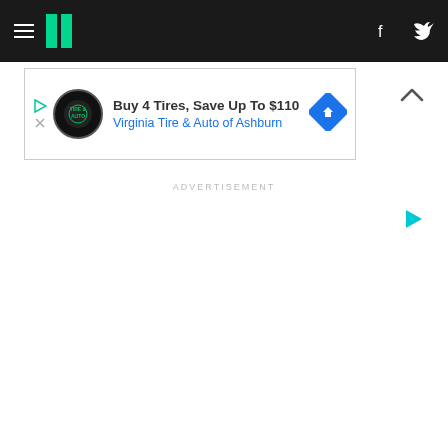HuffPost navigation bar with hamburger menu, logo, Facebook and Twitter icons
[Figure (screenshot): Advertisement banner: Buy 4 Tires, Save Up To $110 - Virginia Tire & Auto of Ashburn, with tire logo and blue diamond arrow icon]
ADVERTISEMENT
[Figure (other): Small cyan play button icon for ad indicator]